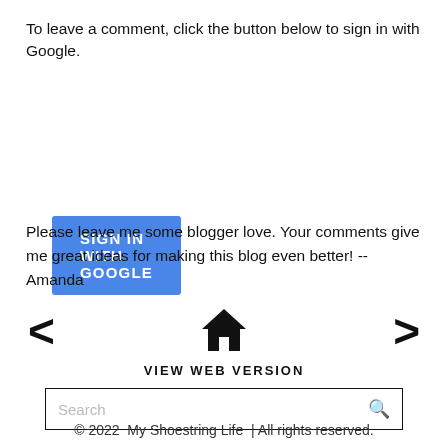To leave a comment, click the button below to sign in with Google.
[Figure (other): Blue button labeled 'SIGN IN WITH GOOGLE']
Please leave me some blogger love. Your comments give me great ideas for making this blog even better! -- Amanda
[Figure (other): Navigation row with left arrow, home icon, and right arrow, with 'VIEW WEB VERSION' text below]
[Figure (other): Search input box with placeholder 'Search' and magnifier icon]
© 2022  My Shoestring Life  | All rights reserved.